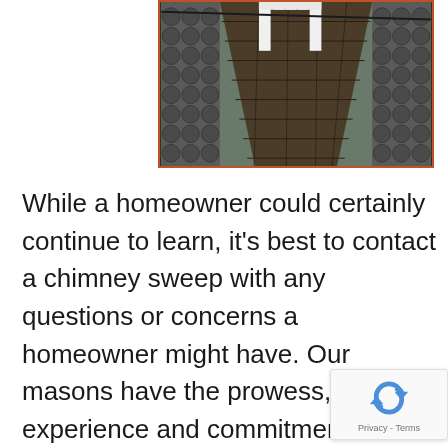[Figure (photo): Aerial or close-up view of a rooftop showing weathered dark shingles, a white railing or fence structure near the top, and portions of different roof sections with rounded slate-style tiles on the sides.]
While a homeowner could certainly continue to learn, it's best to contact a chimney sweep with any questions or concerns a homeowner might have. Our masons have the prowess, experience and commitment the owner needs to manage a chimney and avoid future immoderate leaks